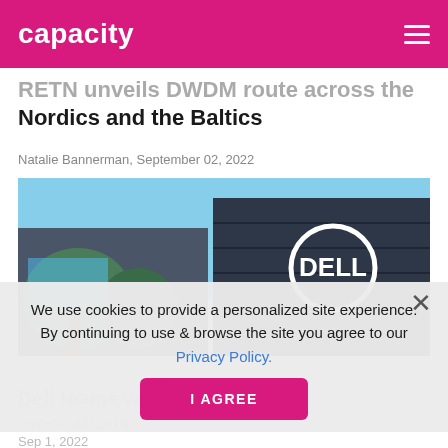capacity
RETN unveils DWDM route across the Nordics and the Baltics
Natalie Bannerman, September 02, 2022
[Figure (photo): Dell Technologies building exterior with the Dell logo sign visible on a dark brick facade, with trees in the foreground under a blue sky.]
We use cookies to provide a personalized site experience. By continuing to use & browse the site you agree to our Privacy Policy.
I AGREE
Dell teams with ... for multicloud innovations
Sep 1, 2022